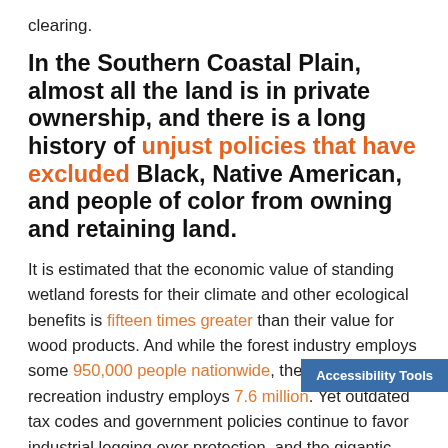clearing.
In the Southern Coastal Plain, almost all the land is in private ownership, and there is a long history of unjust policies that have excluded Black, Native American, and people of color from owning and retaining land.
It is estimated that the economic value of standing wetland forests for their climate and other ecological benefits is fifteen times greater than their value for wood products. And while the forest industry employs some 950,000 people nationwide, the outdoor recreation industry employs 7.6 million. Yet outdated tax codes and government policies continue to favor industrial logging over protection, and the gigantic costs of climate change-related
Accessibility Tools